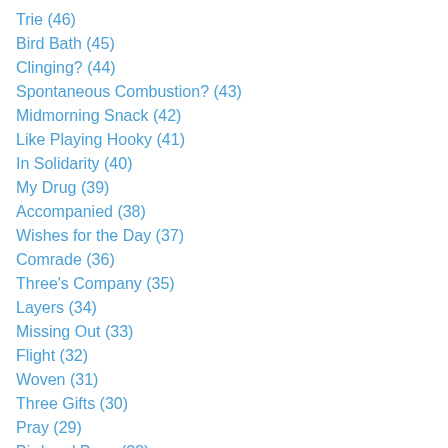Trie (46)
Bird Bath (45)
Clinging? (44)
Spontaneous Combustion? (43)
Midmorning Snack (42)
Like Playing Hooky (41)
In Solidarity (40)
My Drug (39)
Accompanied (38)
Wishes for the Day (37)
Comrade (36)
Three's Company (35)
Layers (34)
Missing Out (33)
Flight (32)
Woven (31)
Three Gifts (30)
Pray (29)
Bird and Bugs (28)
Morning (27)